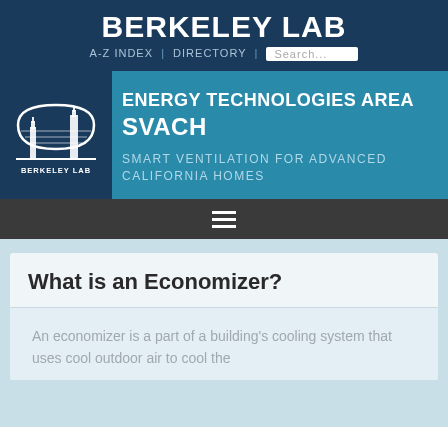BERKELEY LAB
A-Z INDEX | DIRECTORY | Search...
ENERGY TECHNOLOGIES AREA SVACH
SMART VENTILATION FOR ADVANCED CALIFORNIA HOMES
What is an Economizer?
An economizer is a part of a building's cooling system that uses cool outdoor air to cool the